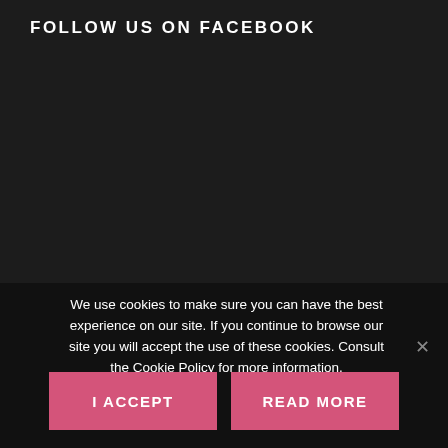FOLLOW US ON FACEBOOK
We use cookies to make sure you can have the best experience on our site. If you continue to browse our site you will accept the use of these cookies. Consult the Cookie Policy for more information.
I ACCEPT
READ MORE